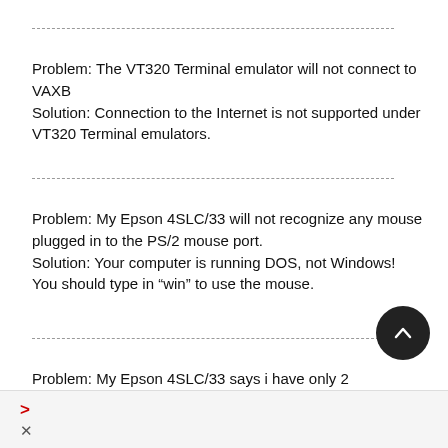Problem: The VT320 Terminal emulator will not connect to VAXB Solution: Connection to the Internet is not supported under VT320 Terminal emulators.
Problem: My Epson 4SLC/33 will not recognize any mouse plugged in to the PS/2 mouse port. Solution: Your computer is running DOS, not Windows! You should type in "win" to use the mouse.
Problem: My Epson 4SLC/33 says i have only 2 megs of ram and will not start windows.